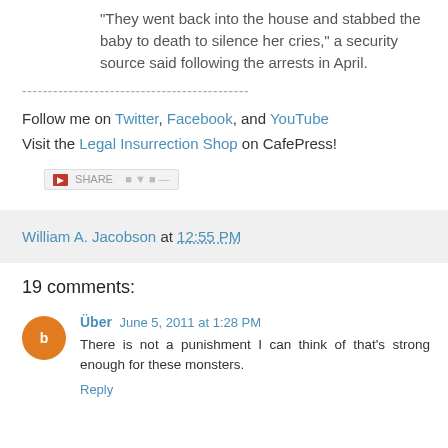"They went back into the house and stabbed the baby to death to silence her cries," a security source said following the arrests in April.
--------------------------------------------
Follow me on Twitter, Facebook, and YouTube
Visit the Legal Insurrection Shop on CafePress!
[Figure (other): Social share bar with icons]
William A. Jacobson at 12:55 PM
19 comments:
Über  June 5, 2011 at 1:28 PM
There is not a punishment I can think of that's strong enough for these monsters.
Reply